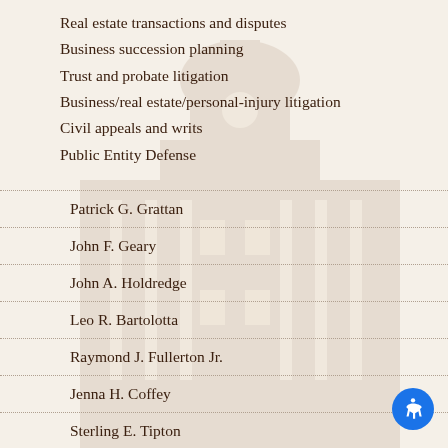Real estate transactions and disputes
Business succession planning
Trust and probate litigation
Business/real estate/personal-injury litigation
Civil appeals and writs
Public Entity Defense
Patrick G. Grattan
John F. Geary
John A. Holdredge
Leo R. Bartolotta
Raymond J. Fullerton Jr.
Jenna H. Coffey
Sterling E. Tipton
Magdalena R. McQuilla
Emily V. DeMeo
Anthony M. Bettencourt